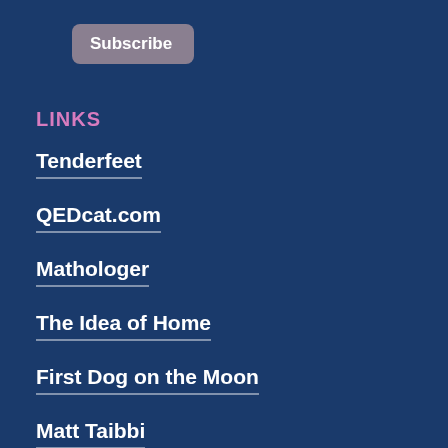Subscribe
LINKS
Tenderfeet
QEDcat.com
Mathologer
The Idea of Home
First Dog on the Moon
Matt Taibbi
John Ewbank